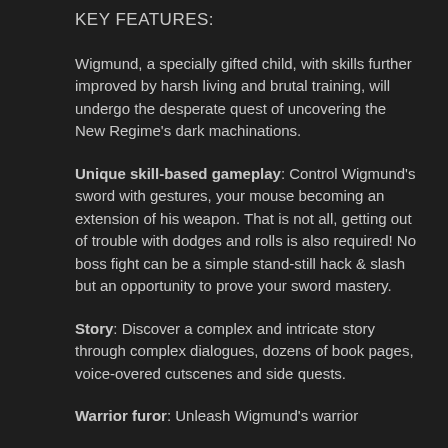KEY FEATURES:
Wigmund, a specially gifted child, with skills further improved by harsh living and brutal training, will undergo the desperate quest of uncovering the New Regime's dark machinations.
Unique skill-based gameplay: Control Wigmund's sword with gestures, your mouse becoming an extension of his weapon. That is not all, getting out of trouble with dodges and rolls is also required! No boss fight can be a simple stand-still hack & slash but an opportunity to prove your sword mastery.
Story: Discover a complex and intricate story through complex dialogues, dozens of book pages, voice-overed cutscenes and side quests.
Warrior furor: Unleash Wigmund's warrior